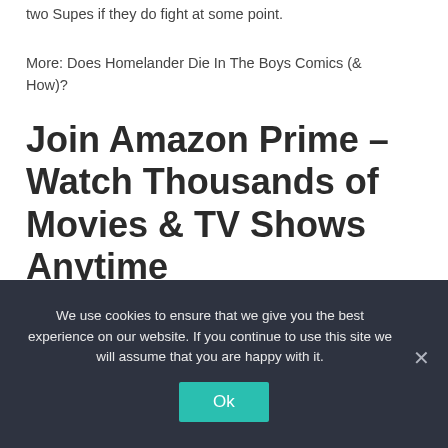two Supes if they do fight at some point.
More: Does Homelander Die In The Boys Comics (& How)?
Join Amazon Prime – Watch Thousands of Movies & TV Shows Anytime
Start Free Trial Now
We use cookies to ensure that we give you the best experience on our website. If you continue to use this site we will assume that you are happy with it.
Ok